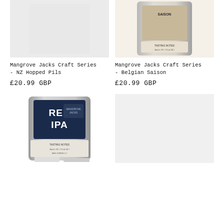[Figure (photo): Mangrove Jacks Craft Series NZ Hopped Pils product bag - silver metallic pouch, no visible label on front (light/blank side shown), gray background]
[Figure (photo): Mangrove Jacks Craft Series Belgian Saison product bag - silver metallic pouch showing back label with Saison branding and nutritional info]
Mangrove Jacks Craft Series - NZ Hopped Pils
Mangrove Jacks Craft Series - Belgian Saison
£20.99 GBP
£20.99 GBP
[Figure (photo): Mangrove Jacks Craft Series Red IPA product bag - silver metallic pouch with dark navy label reading RED IPA]
[Figure (photo): Empty product placeholder - light gray box with no image]